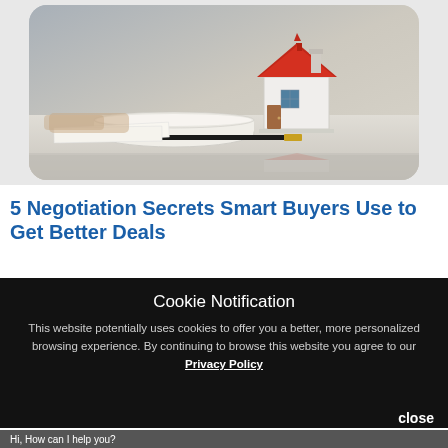[Figure (photo): Photo of a miniature house model with red roof and blueprints/documents on a desk, blurred background with grey tones]
5 Negotiation Secrets Smart Buyers Use to Get Better Deals
Cookie Notification

This website potentially uses cookies to offer you a better, more personalized browsing experience. By continuing to browse this website you agree to our Privacy Policy
close
Hi, How can I help you?